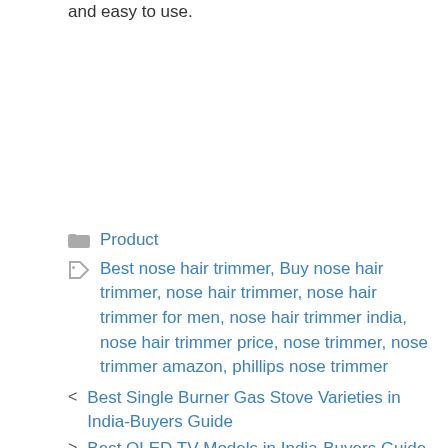and easy to use.
Product
Best nose hair trimmer, Buy nose hair trimmer, nose hair trimmer, nose hair trimmer for men, nose hair trimmer india, nose hair trimmer price, nose trimmer, nose trimmer amazon, phillips nose trimmer
< Best Single Burner Gas Stove Varieties in India-Buyers Guide
> Best QLED TV Models in India-Buyers Guide